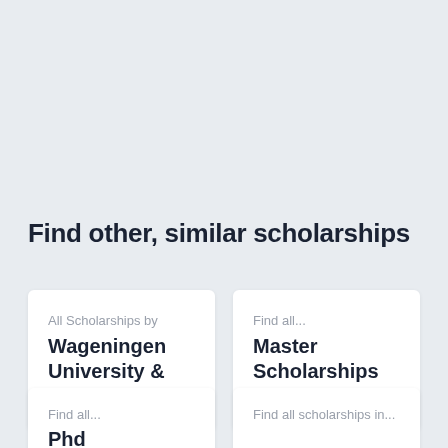Find other, similar scholarships
All Scholarships by
Wageningen University & Research
Find all...
Master Scholarships
Find all...
Phd
Find all scholarships in...